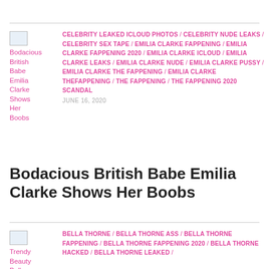[Figure (other): Thumbnail image placeholder for Bodacious British Babe Emilia Clarke Shows Her Boobs article]
Bodacious British Babe Emilia Clarke Shows Her Boobs
CELEBRITY LEAKED ICLOUD PHOTOS / CELEBRITY NUDE LEAKS / CELEBRITY SEX TAPE / EMILIA CLARKE FAPPENING / EMILIA CLARKE FAPPENING 2020 / EMILIA CLARKE ICLOUD / EMILIA CLARKE LEAKS / EMILIA CLARKE NUDE / EMILIA CLARKE PUSSY / EMILIA CLARKE THE FAPPENING / EMILIA CLARKE THEFAPPENING / THE FAPPENING / THE FAPPENING 2020 SCANDAL
JUNE 16, 2020
Bodacious British Babe Emilia Clarke Shows Her Boobs
[Figure (other): Thumbnail image placeholder for Trendy Beauty Bella article]
Trendy Beauty Bella
BELLA THORNE / BELLA THORNE ASS / BELLA THORNE FAPPENING / BELLA THORNE FAPPENING 2020 / BELLA THORNE HACKED / BELLA THORNE LEAKED /